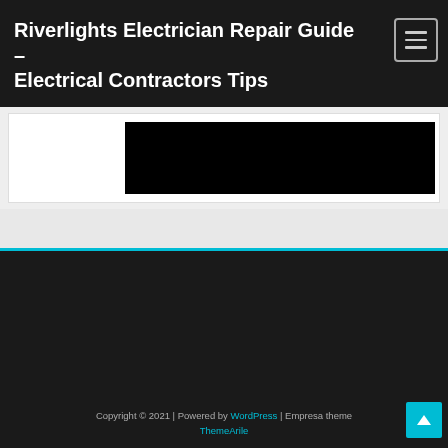Riverlights Electrician Repair Guide – Electrical Contractors Tips
[Figure (screenshot): Embedded video player with black background, part of article content area on white card with light gray page background]
Copyright © 2021 | Powered by WordPress | Empresa theme ThemeArile